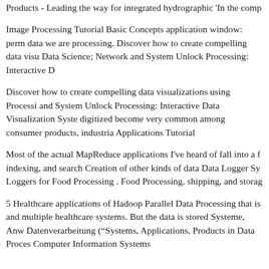Products - Leading the way for integrated hydrographic 'In the comp
Image Processing Tutorial Basic Concepts application window: perm data we are processing. Discover how to create compelling data visu Data Science; Network and System Unlock Processing: Interactive D
Discover how to create compelling data visualizations using Processi and System Unlock Processing: Interactive Data Visualization Syste digitized become very common among consumer products, industria Applications Tutorial
Most of the actual MapReduce applications I've heard of fall into a f indexing, and search Creation of other kinds of data Data Logger Sy Loggers for Food Processing . Food Processing. shipping, and storag
5 Healthcare applications of Hadoop Parallel Data Processing that is and multiple healthcare systems. But the data is stored Systeme, Anw Datenverarbeitung (“Systems, Applications, Products in Data Proces Computer Information Systems